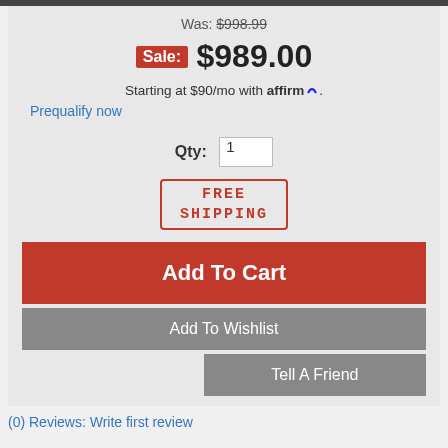Was: $998.99
Sale: $989.00
Starting at $90/mo with affirm.
Prequalify now
Qty: 1
[Figure (other): FREE SHIPPING stamp badge]
Add To Cart
Add To Wishlist
Tell A Friend
(0) Reviews: Write first review